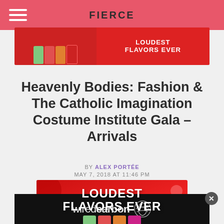FIERCE
[Figure (photo): Red advertisement banner for fizzy drinks - LOUDEST FLAVORS EVER with cans]
Heavenly Bodies: Fashion & The Catholic Imagination Costume Institute Gala – Arrivals
BY ALEX PORTÉE
MAY 7, 2018 AT 11:46 PM
[Figure (photo): Red advertisement - LOUDEST FLAVORS EVER with colorful soda cans]
[Figure (logo): wiredcarbon logo with swirl globe icon on black background]